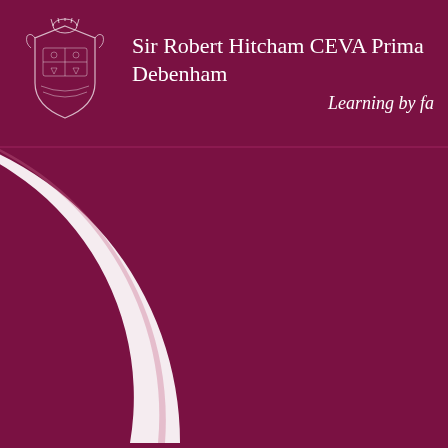[Figure (logo): School crest/coat of arms in white outline on dark maroon background]
Sir Robert Hitcham CEVA Primary, Debenham
Learning by fa...
[Figure (illustration): Large curved arc/swoosh graphic in white and light pink on dark maroon background, forming a crescent or parenthesis shape on the lower left portion of the page]